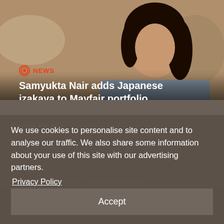[Figure (photo): Hero image of a woman (Samyukta Nair) against a blurred background, with a red NEWS tag icon and article headline overlaid]
Samyukta Nair adds Japanese izakaya to Mayfair portfolio
Recent Posts
We use cookies to personalise site content and to analyse our traffic. We also share some information about your use of this site with our advertising partners.
Privacy Policy
Adu, food and drink to mix in new Soho venue
Accept